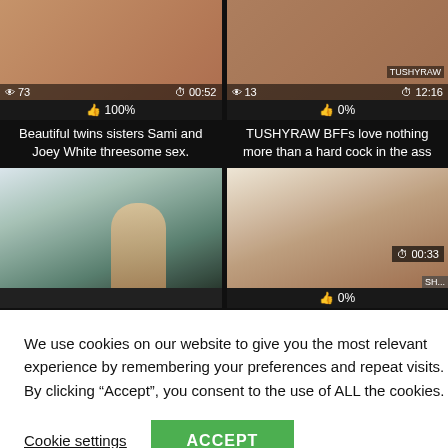[Figure (screenshot): Adult video thumbnail left top - views: 73, duration: 00:52, likes: 100%]
[Figure (screenshot): Adult video thumbnail right top - views: 13, duration: 12:16, likes: 0%]
Beautiful twins sisters Sami and Joey White threesome sex.
TUSHYRAW BFFs love nothing more than a hard cock in the ass
[Figure (screenshot): Adult video thumbnail bottom left - woman in green dress]
[Figure (screenshot): Adult video thumbnail bottom right - duration: 00:33, likes: 0%, a huge black cock BF snoozes]
We use cookies on our website to give you the most relevant experience by remembering your preferences and repeat visits. By clicking “Accept”, you consent to the use of ALL the cookies.
Cookie settings
ACCEPT
OS